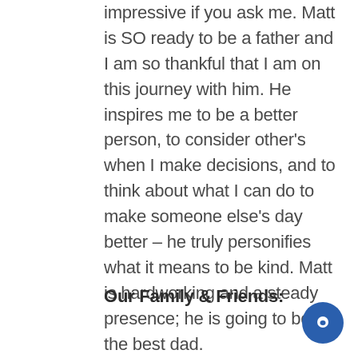impressive if you ask me. Matt is SO ready to be a father and I am so thankful that I am on this journey with him. He inspires me to be a better person, to consider other's when I make decisions, and to think about what I can do to make someone else's day better – he truly personifies what it means to be kind. Matt is hardworking and a steady presence; he is going to be the best dad.
Our Family & Friends: